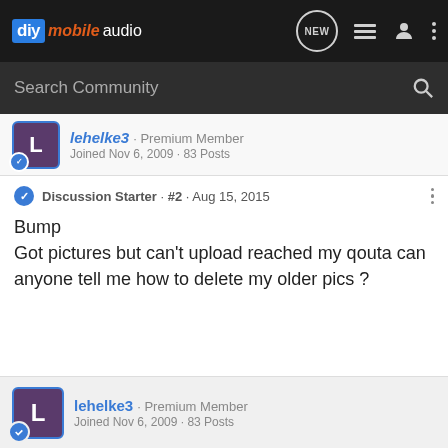diy mobile audio
Search Community
lehelke3 · Premium Member
Joined Nov 6, 2009 · 83 Posts
Discussion Starter · #2 · Aug 15, 2015
Bump
Got pictures but can't upload reached my qouta can anyone tell me how to delete my older pics ?
lehelke3 · Premium Member
Joined Nov 6, 2009 · 83 Posts